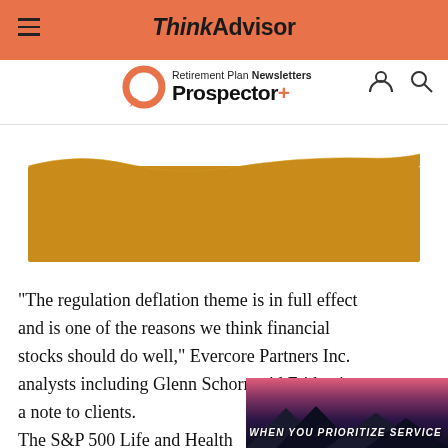ThinkAdvisor
[Figure (logo): Retirement Plan Prospector+ logo with orange ring icon and Newsletters text]
[Figure (illustration): Golden/amber decorative banner image with wavy top edge]
“The regulation deflation theme is in full effect and is one of the reasons we think financial stocks should do well,” Evercore Partners Inc. analysts including Glenn Schorr said Friday in a note to clients.
The S&P 500 Life and Health
[Figure (screenshot): Advertisement banner with text WHEN YOU PRIORITIZE SERVICE and mountain/sunset background]